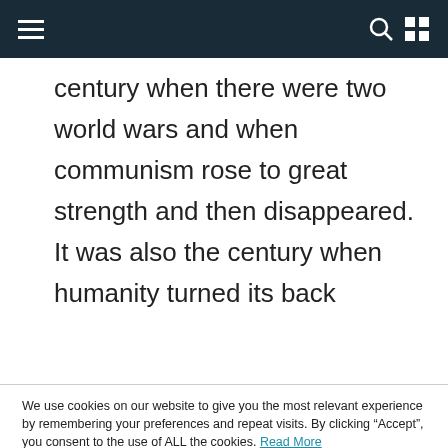Navigation header with hamburger menu, search icon, and grid icon
century when there were two world wars and when communism rose to great strength and then disappeared. It was also the century when humanity turned its back
We use cookies on our website to give you the most relevant experience by remembering your preferences and repeat visits. By clicking “Accept”, you consent to the use of ALL the cookies. Read More
Cookie settings  ACCEPT  REJECT